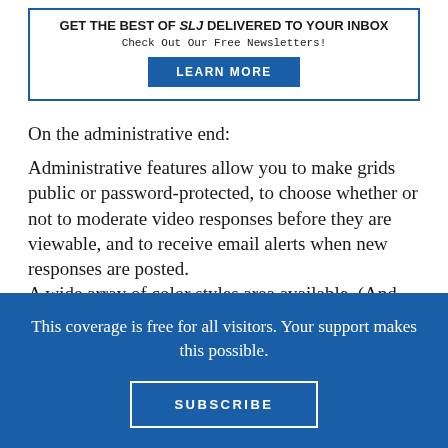[Figure (other): Promotional banner with blue border: 'GET THE BEST OF SLJ DELIVERED TO YOUR INBOX - Check Out Our Free Newsletters!' with a blue LEARN MORE button]
On the administrative end:
Administrative features allow you to make grids public or password-protected, to choose whether or not to moderate video responses before they are viewable, and to receive email alerts when new responses are posted.
A wide array of color styles area available. (And
This coverage is free for all visitors. Your support makes this possible.
SUBSCRIBE